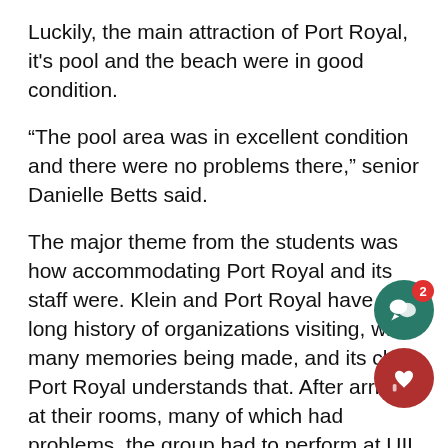Luckily, the main attraction of Port Royal, it's pool and the beach were in good condition.
“The pool area was in excellent condition and there were no problems there,” senior Danielle Betts said.
The major theme from the students was how accommodating Port Royal and its staff were. Klein and Port Royal have a long history of organizations visiting, with many memories being made, and its clear Port Royal understands that. After arriving at their rooms, many of which had problems, the group had to perform at UIL competition, which fortunately, went without a hitch.
“All four of the groups that were down there got first division ratings,” band director David Gresens said.
The first division rating is the highest award a band